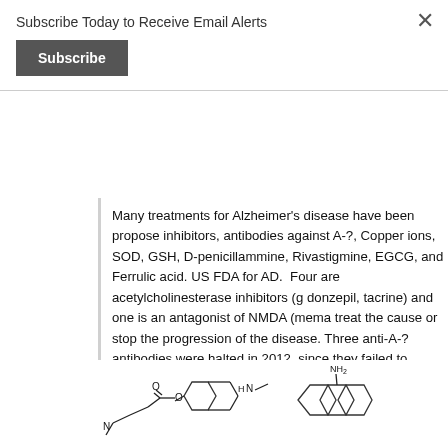Subscribe Today to Receive Email Alerts
Subscribe
Many treatments for Alzheimer's disease have been proposed including AChE inhibitors, antibodies against A-?, Copper ions, SOD, GSH, D-penicillammine, Rivastigmine, EGCG, and Ferrulic acid. Five are approved by the US FDA for AD.  Four are acetylcholinesterase inhibitors (galantamine, rivastigmine, donzepil, tacrine) and one is an antagonist of NMDA (memantine). None of these treat the cause or stop the progression of the disease. Three major trials of anti-A-? antibodies were halted in 2012, since they failed to show efficacy and harmed homozygous ApoE4 patients. None of these are inhibitors of metal-mediated toxicity. Paradoxically, curcumin and EGCG have been shown in experimental cell culture models of AD to inhibit apoptosis.  This is the opposite of the desired outcome.  Here is a diagram of the chemical structures of these compounds:
[Figure (schematic): Chemical structure diagrams of compounds: left shows a compound with ethyl-N group connected to a benzene ring and an ester linkage to another ring with H-N-methyl group (likely rivastigmine or similar); right shows an aminoacridine structure (tacrine) with NH2 group on an acridine ring system.]